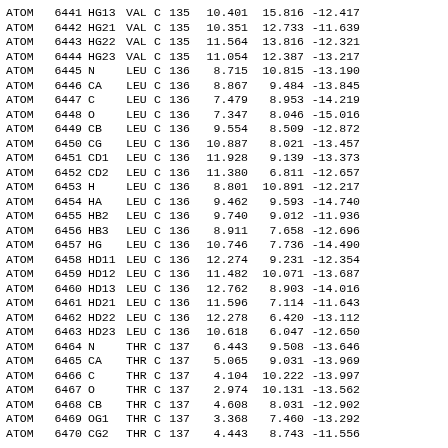| Type | Serial | Name | Res | Chain | ResSeq | X | Y | Z |
| --- | --- | --- | --- | --- | --- | --- | --- | --- |
| ATOM | 6441 | HG13 | VAL | C | 135 | 10.401 | 15.816 | -12.417 |
| ATOM | 6442 | HG21 | VAL | C | 135 | 10.351 | 12.733 | -11.639 |
| ATOM | 6443 | HG22 | VAL | C | 135 | 11.564 | 13.816 | -12.321 |
| ATOM | 6444 | HG23 | VAL | C | 135 | 11.054 | 12.387 | -13.217 |
| ATOM | 6445 | N | LEU | C | 136 | 8.715 | 10.815 | -13.190 |
| ATOM | 6446 | CA | LEU | C | 136 | 8.867 | 9.484 | -13.845 |
| ATOM | 6447 | C | LEU | C | 136 | 7.479 | 8.953 | -14.219 |
| ATOM | 6448 | O | LEU | C | 136 | 7.347 | 8.046 | -15.016 |
| ATOM | 6449 | CB | LEU | C | 136 | 9.554 | 8.509 | -12.872 |
| ATOM | 6450 | CG | LEU | C | 136 | 10.887 | 8.021 | -13.457 |
| ATOM | 6451 | CD1 | LEU | C | 136 | 11.928 | 9.139 | -13.373 |
| ATOM | 6452 | CD2 | LEU | C | 136 | 11.380 | 6.811 | -12.657 |
| ATOM | 6453 | H | LEU | C | 136 | 8.801 | 10.891 | -12.217 |
| ATOM | 6454 | HA | LEU | C | 136 | 9.462 | 9.593 | -14.740 |
| ATOM | 6455 | HB2 | LEU | C | 136 | 9.740 | 9.012 | -11.936 |
| ATOM | 6456 | HB3 | LEU | C | 136 | 8.911 | 7.658 | -12.696 |
| ATOM | 6457 | HG | LEU | C | 136 | 10.746 | 7.736 | -14.490 |
| ATOM | 6458 | HD11 | LEU | C | 136 | 12.274 | 9.231 | -12.354 |
| ATOM | 6459 | HD12 | LEU | C | 136 | 11.482 | 10.071 | -13.687 |
| ATOM | 6460 | HD13 | LEU | C | 136 | 12.762 | 8.903 | -14.016 |
| ATOM | 6461 | HD21 | LEU | C | 136 | 11.596 | 7.114 | -11.643 |
| ATOM | 6462 | HD22 | LEU | C | 136 | 12.278 | 6.420 | -13.112 |
| ATOM | 6463 | HD23 | LEU | C | 136 | 10.618 | 6.047 | -12.650 |
| ATOM | 6464 | N | THR | C | 137 | 6.443 | 9.508 | -13.646 |
| ATOM | 6465 | CA | THR | C | 137 | 5.065 | 9.031 | -13.969 |
| ATOM | 6466 | C | THR | C | 137 | 4.104 | 10.222 | -13.997 |
| ATOM | 6467 | O | THR | C | 137 | 2.974 | 10.131 | -13.562 |
| ATOM | 6468 | CB | THR | C | 137 | 4.608 | 8.031 | -12.902 |
| ATOM | 6469 | OG1 | THR | C | 137 | 3.368 | 7.460 | -13.292 |
| ATOM | 6470 | CG2 | THR | C | 137 | 4.443 | 8.743 | -11.556 |